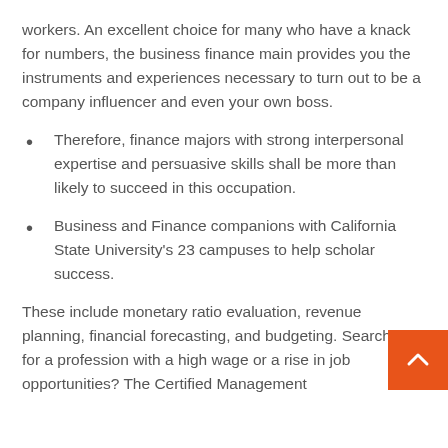workers. An excellent choice for many who have a knack for numbers, the business finance main provides you the instruments and experiences necessary to turn out to be a company influencer and even your own boss.
Therefore, finance majors with strong interpersonal expertise and persuasive skills shall be more than likely to succeed in this occupation.
Business and Finance companions with California State University's 23 campuses to help scholar success.
These include monetary ratio evaluation, revenue planning, financial forecasting, and budgeting. Searching for a profession with a high wage or a rise in job opportunities? The Certified Management